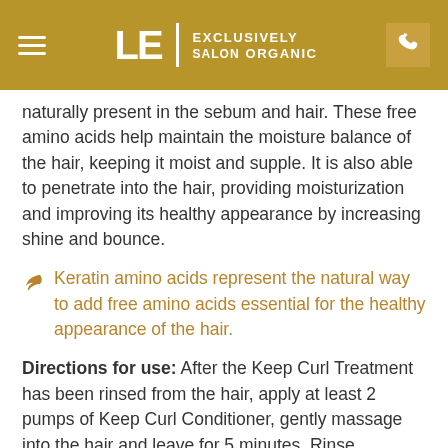LE SALON EXCLUSIVELY ORGANIC
naturally present in the sebum and hair. These free amino acids help maintain the moisture balance of the hair, keeping it moist and supple. It is also able to penetrate into the hair, providing moisturization and improving its healthy appearance by increasing shine and bounce.
Keratin amino acids represent the natural way to add free amino acids essential for the healthy appearance of the hair.
Directions for use: After the Keep Curl Treatment has been rinsed from the hair, apply at least 2 pumps of Keep Curl Conditioner, gently massage into the hair and leave for 5 minutes. Rinse thoroughly.
KEEP CURL MEMORY SPRAY
Keep Curl Memory Spray is an exclusive new lightweight